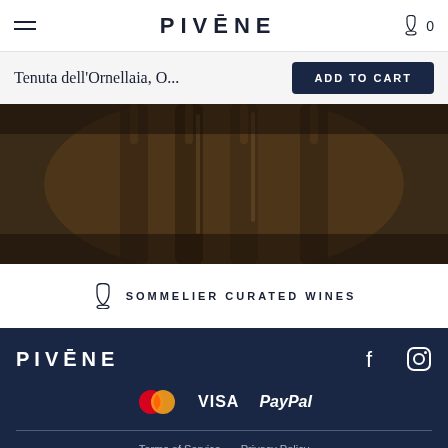PIVĒNE — navigation header with hamburger menu and cart (0)
Tenuta dell'Ornellaia, O...
ADD TO CART
[Figure (photo): Dark background photo showing wine bottles in dim, amber lighting]
SOMMELIER CURATED WINES
PIVĒNE footer logo
f  (Instagram icon)
[Figure (other): Payment method icons: Mastercard, VISA, PayPal]
Terms of Service   Privacy Policy
© 2022 PIVENE. All Rights Reserved. Designed by 360&5.